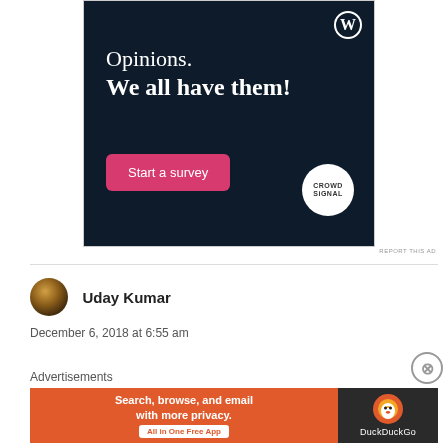[Figure (screenshot): WordPress/CrowdSignal advertisement with dark navy background. Text reads 'Opinions. We all have them!' with a pink 'Start a survey' button and CrowdSignal logo.]
REPORT THIS AD
Uday Kumar
December 6, 2018 at 6:55 am
Advertisements
[Figure (screenshot): DuckDuckGo advertisement banner: orange left side with text 'Search, browse, and email with more privacy. All in One Free App' and dark right side with DuckDuckGo duck logo and text 'DuckDuckGo'.]